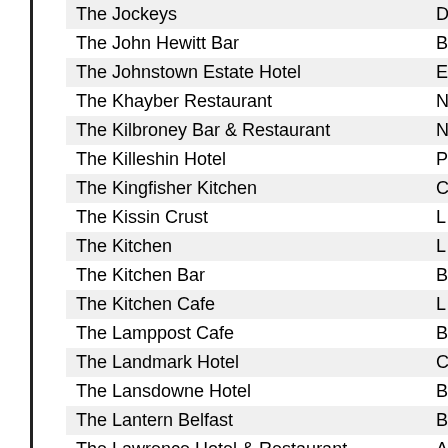| Name | Location |
| --- | --- |
| The Jockeys | D |
| The John Hewitt Bar | B |
| The Johnstown Estate Hotel | E |
| The Khayber Restaurant | N |
| The Kilbroney Bar & Restaurant | N |
| The Killeshin Hotel | P |
| The Kingfisher Kitchen | C |
| The Kissin Crust | L |
| The Kitchen | L |
| The Kitchen Bar | B |
| The Kitchen Cafe | L |
| The Lamppost Cafe | B |
| The Landmark Hotel | C |
| The Lansdowne Hotel | B |
| The Lantern Belfast | B |
| The Lawrence Hotel & Restaurant | A |
| The Lemon Tree Restaurant | L |
| The Lime Tree Restaurant | L |
| The Lisdas Bar & Steakhouse | D |